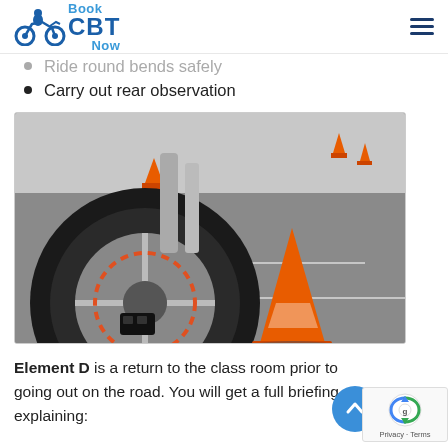Book CBT Now
Ride round bends safely
Carry out rear observation
[Figure (photo): Close-up of a motorcycle front wheel and tire on a parking lot training area, with orange traffic cones visible in the background and foreground.]
Element D is a return to the class room prior to going out on the road. You will get a full briefing explaining:
The use of speed, road positioning, safe...